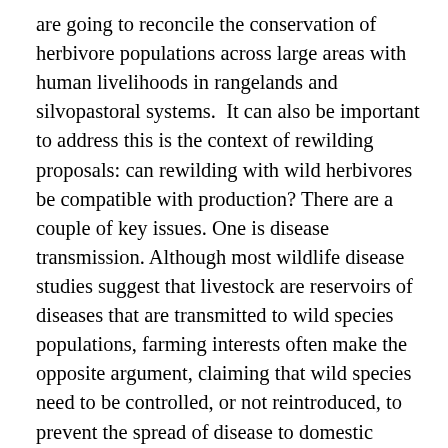are going to reconcile the conservation of herbivore populations across large areas with human livelihoods in rangelands and silvopastoral systems.  It can also be important to address this is the context of rewilding proposals: can rewilding with wild herbivores be compatible with production? There are a couple of key issues. One is disease transmission. Although most wildlife disease studies suggest that livestock are reservoirs of diseases that are transmitted to wild species populations, farming interests often make the opposite argument, claiming that wild species need to be controlled, or not reintroduced, to prevent the spread of disease to domestic stock. Another tricky question is whether grazing herbivores compete with livestock for food and whether this is acceptable from a socioeconomic perspective?  Overgrazing, if it results in land degradation, will negatively affect both wild species populations, and biodiversity generally, as well as human livelihoods.